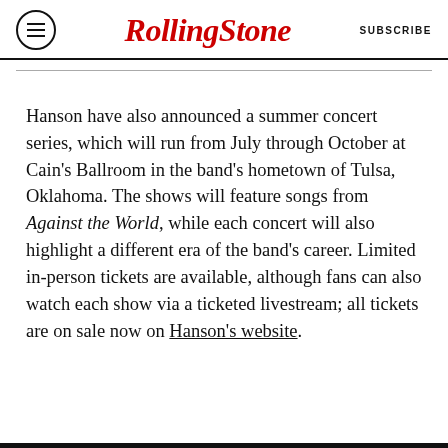Rolling Stone  SUBSCRIBE
Hanson have also announced a summer concert series, which will run from July through October at Cain’s Ballroom in the band’s hometown of Tulsa, Oklahoma. The shows will feature songs from Against the World, while each concert will also highlight a different era of the band’s career. Limited in-person tickets are available, although fans can also watch each show via a ticketed livestream; all tickets are on sale now on Hanson’s website.